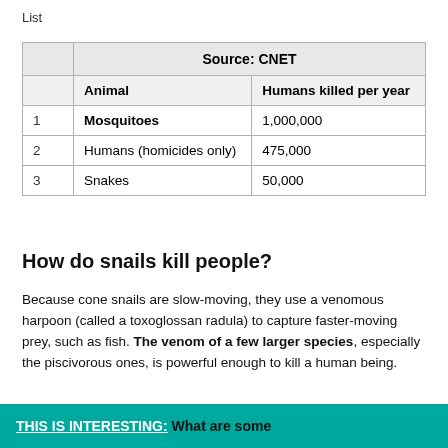List
|  | Animal | Humans killed per year |
| --- | --- | --- |
| 1 | Mosquitoes | 1,000,000 |
| 2 | Humans (homicides only) | 475,000 |
| 3 | Snakes | 50,000 |
How do snails kill people?
Because cone snails are slow-moving, they use a venomous harpoon (called a toxoglossan radula) to capture faster-moving prey, such as fish. The venom of a few larger species, especially the piscivorous ones, is powerful enough to kill a human being.
THIS IS INTERESTING: What are some